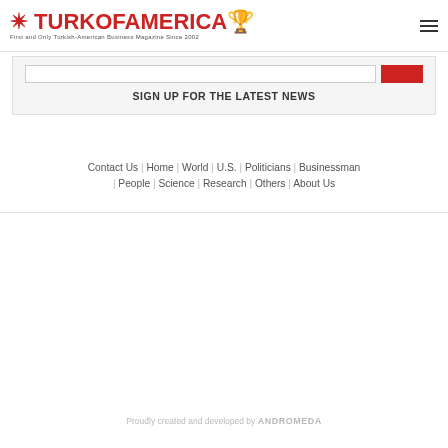TURKOFAMERICA - First and Only Turkish-American Business Magazine Since 2002
SIGN UP FOR THE LATEST NEWS
Contact Us | Home | World | U.S. | Politicians | Businessman | People | Science | Research | Others | About Us
Proudly created and developed by ANDROMEDA